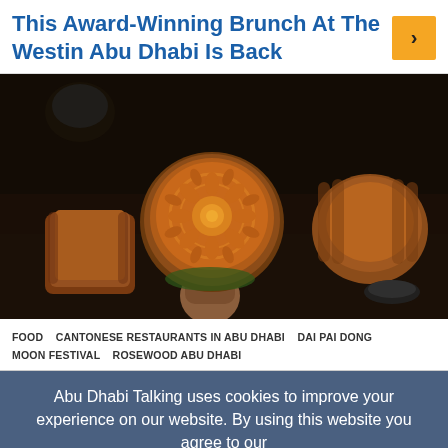This Award-Winning Brunch At The Westin Abu Dhabi Is Back
[Figure (photo): Photo of mooncakes being held up against a dark background, with ornate floral patterns on top.]
FOOD   CANTONESE RESTAURANTS IN ABU DHABI   DAI PAI DONG   MOON FESTIVAL   ROSEWOOD ABU DHABI
Abu Dhabi Talking uses cookies to improve your experience on our website. By using this website you agree to our Privacy Policy. Accept